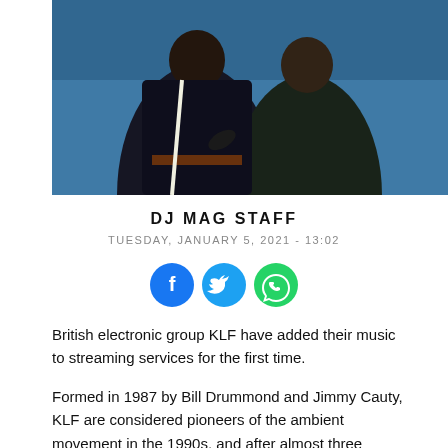[Figure (photo): Two people wearing dark jackets posed against a blue background]
DJ MAG STAFF
TUESDAY, JANUARY 5, 2021 - 13:02
[Figure (other): Social media share icons: Facebook, Twitter, WhatsApp]
British electronic group KLF have added their music to streaming services for the first time.
Formed in 1987 by Bill Drummond and Jimmy Cauty, KLF are considered pioneers of the ambient movement in the 1990s, and after almost three decades without digital releases, they have now landed streaming rights.